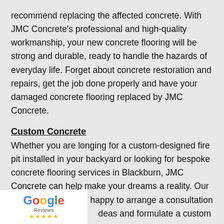recommend replacing the affected concrete. With JMC Concrete's professional and high-quality workmanship, your new concrete flooring will be strong and durable, ready to handle the hazards of everyday life. Forget about concrete restoration and repairs, get the job done properly and have your damaged concrete flooring replaced by JMC Concrete.
Custom Concrete
Whether you are longing for a custom-designed fire pit installed in your backyard or looking for bespoke concrete flooring services in Blackburn, JMC Concrete can help make your dreams a reality. Our friendly team will be happy to arrange a consultation to discuss your ideas and formulate a custom concrete solution that meets all your requirements.
[Figure (logo): Google Reviews logo with 5 gold stars]